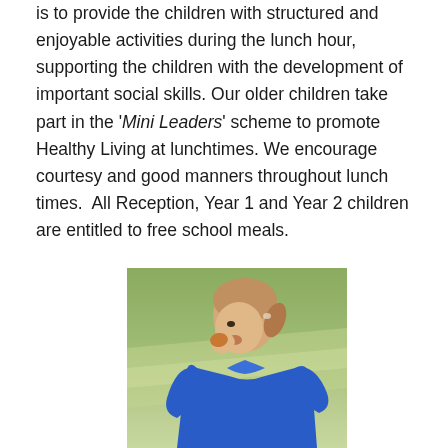is to provide the children with structured and enjoyable activities during the lunch hour, supporting the children with the development of important social skills. Our older children take part in the 'Mini Leaders' scheme to promote Healthy Living at lunchtimes. We encourage courtesy and good manners throughout lunch times.  All Reception, Year 1 and Year 2 children are entitled to free school meals.
[Figure (photo): A young girl in a blue school sweatshirt eating something, with a blurred green outdoor background.]